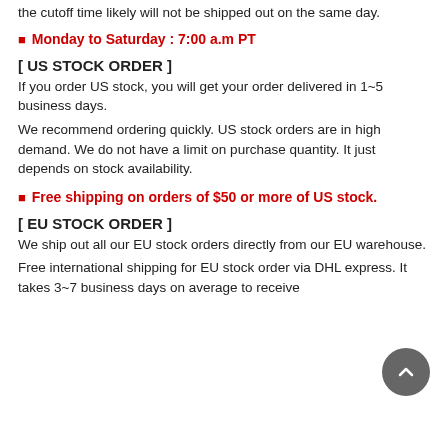the cutoff time likely will not be shipped out on the same day.
✓ Monday to Saturday : 7:00 a.m PT
[ US STOCK ORDER ]
If you order US stock, you will get your order delivered in 1~5 business days.
We recommend ordering quickly. US stock orders are in high demand. We do not have a limit on purchase quantity. It just depends on stock availability.
✓ Free shipping on orders of $50 or more of US stock.
[ EU STOCK ORDER ]
We ship out all our EU stock orders directly from our EU warehouse.
Free international shipping for EU stock order via DHL express. It takes 3~7 business days on average to receive